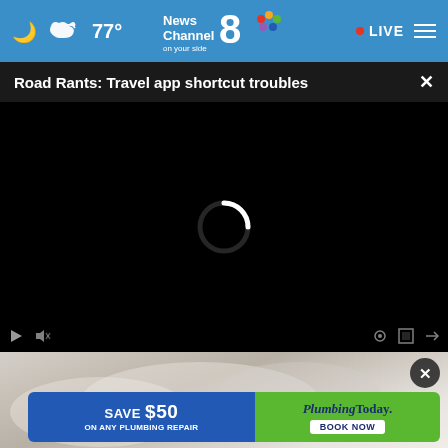77° News Channel 8 on your side • LIVE
Road Rants: Travel app shortcut troubles
[Figure (screenshot): Video player showing a black loading screen with a spinning loading indicator (white arc), and a dark controls bar at the bottom with playback icons]
[Figure (photo): Partial thumbnail image showing a blurred background scene below the video player]
[Figure (infographic): Advertisement banner: 'SAVE $50 ON ANY PLUMBING REPAIR' on a blue background on the left, and 'PlumbingToday. BOOK NOW' on a green background on the right, with a dark circular close button]